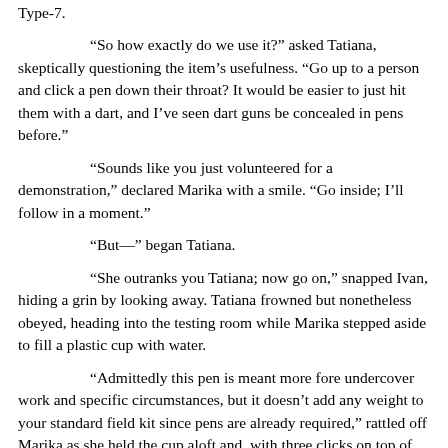Type-7.
"So how exactly do we use it?" asked Tatiana, skeptically questioning the item's usefulness. "Go up to a person and click a pen down their throat? It would be easier to just hit them with a dart, and I've seen dart guns be concealed in pens before."
"Sounds like you just volunteered for a demonstration," declared Marika with a smile. "Go inside; I'll follow in a moment."
"But—" began Tatiana.
"She outranks you Tatiana; now go on," snapped Ivan, hiding a grin by looking away. Tatiana frowned but nonetheless obeyed, heading into the testing room while Marika stepped aside to fill a plastic cup with water.
"Admittedly this pen is meant more fore undercover work and specific circumstances, but it doesn't add any weight to your standard field kit since pens are already required," rattled off Marika as she held the cup aloft and, with three clicks on top of the pen, dispensed a few drops of liquid into the glass on top of the water. The liquid mixed perfectly and everyone grinned; Marika then moved to enter the white room.